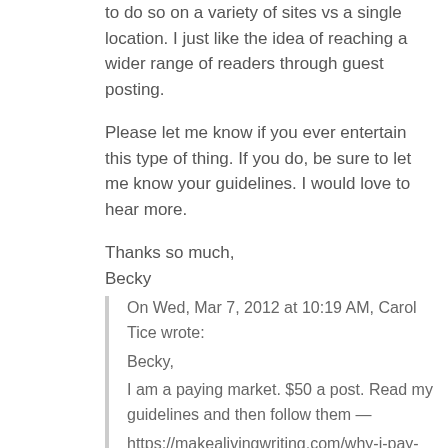to do so on a variety of sites vs a single location. I just like the idea of reaching a wider range of readers through guest posting.
Please let me know if you ever entertain this type of thing. If you do, be sure to let me know your guidelines. I would love to hear more.
Thanks so much,
Becky
On Wed, Mar 7, 2012 at 10:19 AM, Carol Tice wrote:
Becky,
I am a paying market. $50 a post. Read my guidelines and then follow them — https://makealivingwriting.com/why-i-pay-writers
I do not accept free guest posts and prewritten posts submitted will not be read.
— Carol